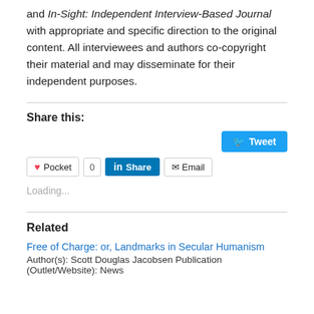and In-Sight: Independent Interview-Based Journal with appropriate and specific direction to the original content. All interviewees and authors co-copyright their material and may disseminate for their independent purposes.
Share this:
[Figure (screenshot): Social sharing buttons: Tweet (Twitter/blue), Pocket, 0 count, LinkedIn Share, Email]
Loading...
Related
Free of Charge: or, Landmarks in Secular Humanism
Author(s): Scott Douglas Jacobsen Publication (Outlet/Website): News